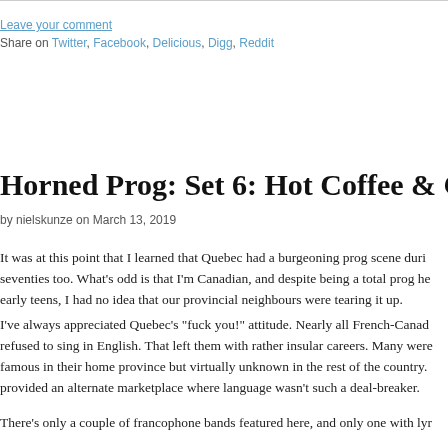Leave your comment
Share on Twitter, Facebook, Delicious, Digg, Reddit
Horned Prog: Set 6: Hot Coffee & Cold
by nielskunze on March 13, 2019
It was at this point that I learned that Quebec had a burgeoning prog scene during the seventies too. What’s odd is that I’m Canadian, and despite being a total prog head in my early teens, I had no idea that our provincial neighbours were tearing it up.
I’ve always appreciated Quebec’s “fuck you!” attitude. Nearly all French-Canadian bands refused to sing in English. That left them with rather insular careers. Many were hugely famous in their home province but virtually unknown in the rest of the country. Prog provided an alternate marketplace where language wasn’t such a deal-breaker.
There’s only a couple of francophone bands featured here, and only one with lyr